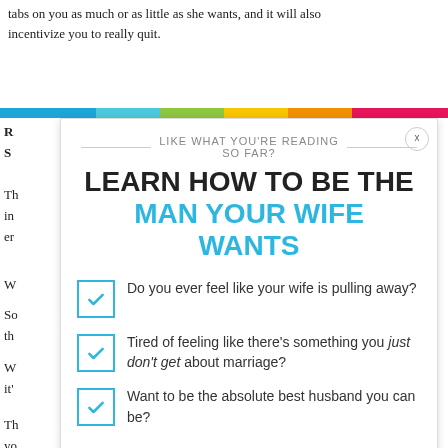tabs on you as much or as little as she wants, and it will also incentivize you to really quit.
[Figure (infographic): Rainbow/multicolor horizontal bar divider]
R
S
Th
in
er
W
So
th
W
it'
Th
yo
LIKE WHAT YOU'RE READING SO FAR?
LEARN HOW TO BE THE MAN YOUR WIFE WANTS
Do you ever feel like your wife is pulling away?
Tired of feeling like there's something you just don't get about marriage?
Want to be the absolute best husband you can be?